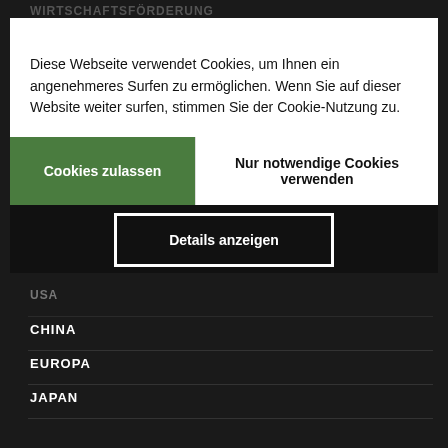WIRTSCHAFTSFÖRDERUNG
GELDANLAGE
Diese Webseite verwendet Cookies, um Ihnen ein angenehmeres Surfen zu ermöglichen. Wenn Sie auf dieser Website weiter surfen, stimmen Sie der Cookie-Nutzung zu.
Cookies zulassen
Nur notwendige Cookies verwenden
Details anzeigen
GLOBAL:
USA
CHINA
EUROPA
JAPAN